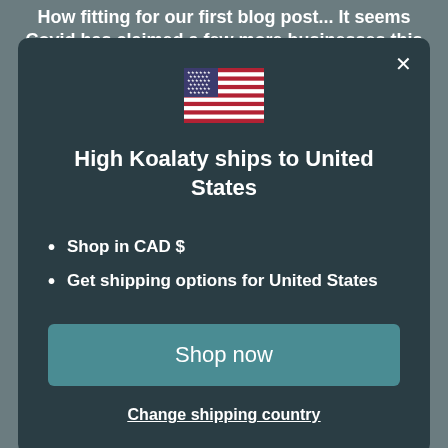How fitting for our first blog post... It seems Covid has claimed a few more businesses this week including our
[Figure (screenshot): Modal dialog box with dark teal background showing US flag emoji, title 'High Koalaty ships to United States', bullet points about CAD$ shopping and shipping options, a 'Shop now' teal button, and a 'Change shipping country' underlined link. Close X button in top right corner.]
High Koalaty ships to United States
Shop in CAD $
Get shipping options for United States
Shop now
Change shipping country